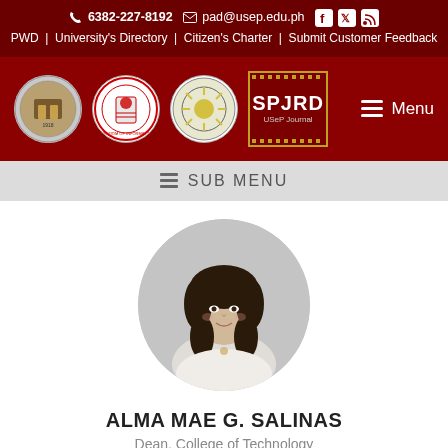📞 6382-227-8192 ✉ pad@usep.edu.ph [Facebook] [Twitter] [RSS]
PWD | University's Directory | Citizen's Charter | Submit Customer Feedback
[Figure (logo): USeP and affiliated institution logos, SPJRD journal logo, and hamburger menu button on dark red background]
☰ SUB MENU
[Figure (photo): Circular profile photo of Alma Mae G. Salinas, a woman with dark hair, on a grey circular background]
ALMA MAE G. SALINAS
Dean, College of Technology